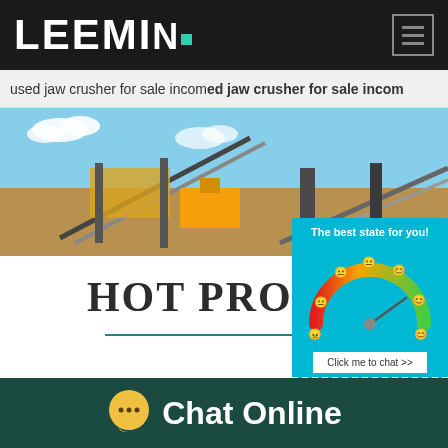LEEMiN
used jaw crusher for sale incom used jaw crusher for sale incom
[Figure (photo): Industrial mining/crushing plant facility with conveyor belts and heavy machinery against a blue sky backdrop]
HOT PRODUCTS
[Figure (infographic): Chat widget popup showing a satisfaction gauge/speedometer with emoji faces ranging from angry to happy, colored red-orange-green. Title: 'The best state for you!' with a 'Click me to chat >>' button and 'Enquiry' section below.]
Chat Online